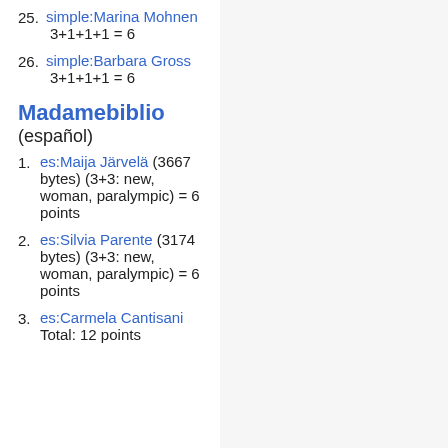25. simple:Marina Mohnen
3+1+1+1 = 6
26. simple:Barbara Gross
3+1+1+1 = 6
Madamebiblio (español)
1. es:Maija Järvelä (3667 bytes) (3+3: new, woman, paralympic) = 6 points
2. es:Silvia Parente (3174 bytes) (3+3: new, woman, paralympic) = 6 points
3. es:Carmela Cantisani
Total: 12 points